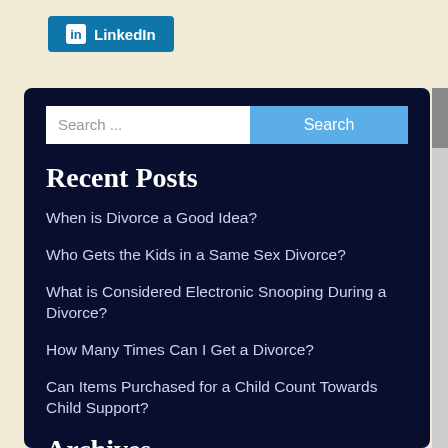[Figure (logo): LinkedIn share button with LinkedIn logo icon and text 'LinkedIn' on blue background]
[Figure (screenshot): Search bar with text input 'Search ...' and a blue 'Search' button]
Recent Posts
When is Divorce a Good Idea?
Who Gets the Kids in a Same Sex Divorce?
What is Considered Electronic Snooping During a Divorce?
How Many Times Can I Get a Divorce?
Can Items Purchased for a Child Count Towards Child Support?
Archives